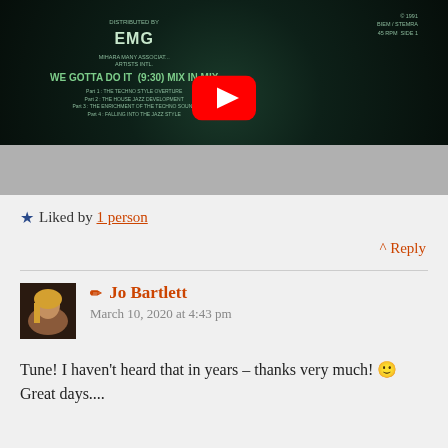[Figure (screenshot): YouTube video thumbnail showing a vinyl record label with text 'WE GOTTA DO IT (9:30) MIX IN MIX', distributed by EMG, with YouTube play button overlay]
★ Liked by 1 person
^ Reply
✏ Jo Bartlett
March 10, 2020 at 4:43 pm
Tune! I haven't heard that in years – thanks very much! 🙂 Great days....